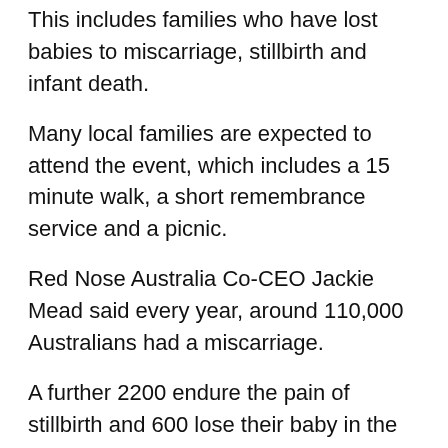This includes families who have lost babies to miscarriage, stillbirth and infant death.
Many local families are expected to attend the event, which includes a 15 minute walk, a short remembrance service and a picnic.
Red Nose Australia Co-CEO Jackie Mead said every year, around 110,000 Australians had a miscarriage.
A further 2200 endure the pain of stillbirth and 600 lose their baby in the first 28 days after birth.
She said October was a time for Australia to break the silence and acknowledge the heartbreak happening too often right now
“Pregnancy and Infant Loss Awareness Month is all about